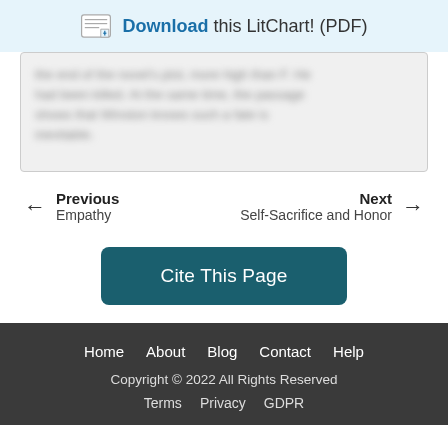Download this LitChart! (PDF)
the end of the novel's plot, more high than F. He had been killed. At the same time, the passage shows that Winston knows such a fate is inevitable.
← Previous
Empathy
Next →
Self-Sacrifice and Honor
Cite This Page
Home   About   Blog   Contact   Help
Copyright © 2022 All Rights Reserved
Terms   Privacy   GDPR